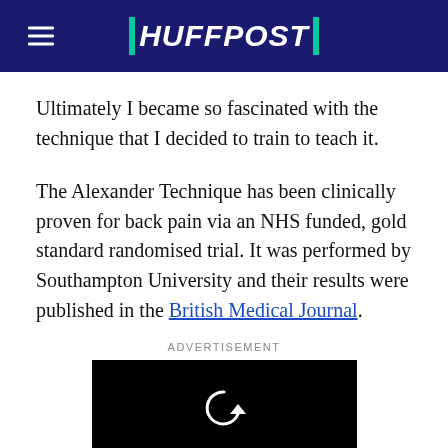HUFFPOST
Ultimately I became so fascinated with the technique that I decided to train to teach it.
The Alexander Technique has been clinically proven for back pain via an NHS funded, gold standard randomised trial. It was performed by Southampton University and their results were published in the British Medical Journal.
ADVERTISEMENT
[Figure (other): Black video player advertisement box with a circular replay/refresh icon in the center]